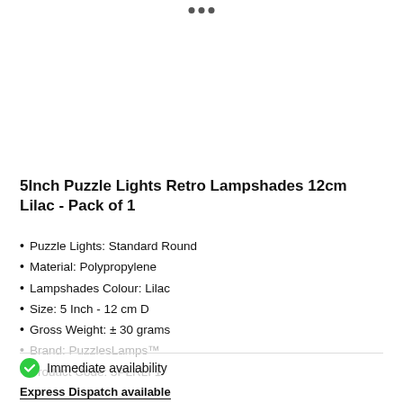[Figure (other): Loading spinner dots at top of page]
5Inch Puzzle Lights Retro Lampshades 12cm Lilac - Pack of 1
Puzzle Lights: Standard Round
Material: Polypropylene
Lampshades Colour: Lilac
Size: 5 Inch - 12 cm D
Gross Weight: ± 30 grams
Brand: PuzzlesLamps™
Product Code: 5PLRLI 1
Immediate availability
Express Dispatch available